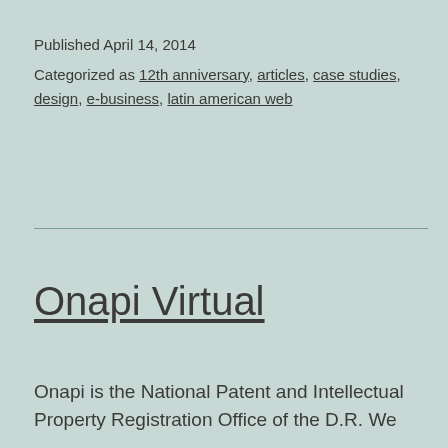Published April 14, 2014
Categorized as 12th anniversary, articles, case studies, design, e-business, latin american web
Onapi Virtual
Onapi is the National Patent and Intellectual Property Registration Office of the D.R. We